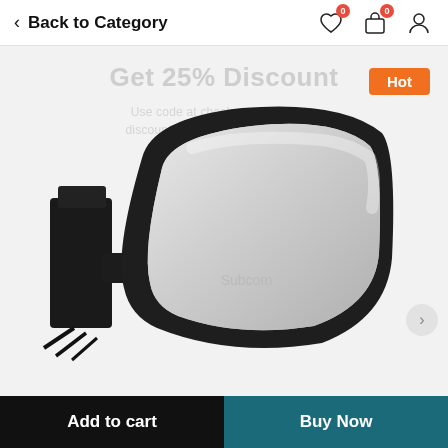Back to Category
[Figure (photo): Car side mirror (driver's side, black) product photo on white/light gray background with 'Get 25% Discount' watermark text and 'Subcom' watermark on mirror. A 'Hot' badge in orange appears in the upper right of the image area.]
Add to cart
Buy Now